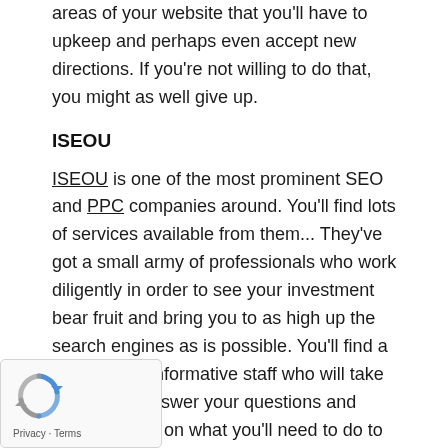areas of your website that you'll have to upkeep and perhaps even accept new directions. If you're not willing to do that, you might as well give up.
ISEOU
ISEOU is one of the most prominent SEO and PPC companies around. You'll find lots of services available from them... They've got a small army of professionals who work diligently in order to see your investment bear fruit and bring you to as high up the search engines as is possible. You'll find a friendly and informative staff who will take the time to answer your questions and enlighten you on what you'll need to do to gain that SEO success you're looking for.
[Figure (other): reCAPTCHA widget with rotating arrows logo and Privacy - Terms links]